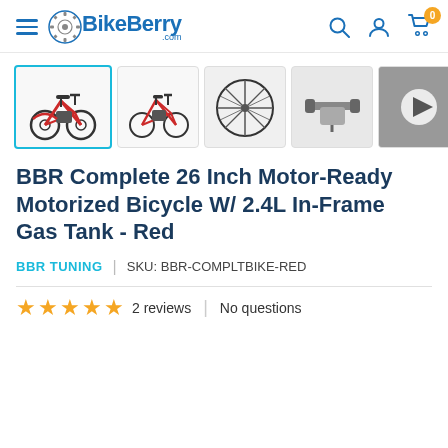BikeBerry.com navigation header with hamburger menu, logo, search, account, and cart icons
[Figure (screenshot): Product thumbnail image strip showing 7 thumbnails: red motorized bicycle (active/selected with blue border), angled view of bicycle, close-up of engine/wheel, handlebar view, and 3 video thumbnails with play buttons]
BBR Complete 26 Inch Motor-Ready Motorized Bicycle W/ 2.4L In-Frame Gas Tank - Red
BBR TUNING | SKU: BBR-COMPLTBIKE-RED
2 reviews | No questions